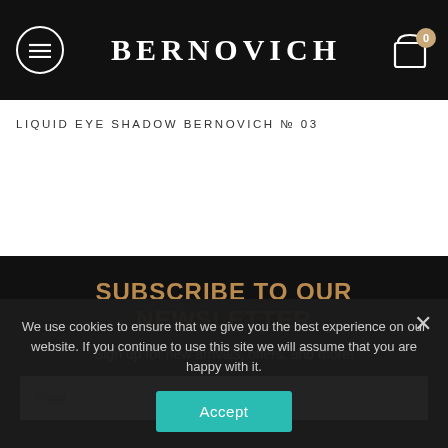BERNOVICH
LIQUID EYE SHADOW BERNOVICH № 03
SUBSCRIBE TO OUR NEWSLETTER
Sign up for new arrivals, offers, and more!
Email
We use cookies to ensure that we give you the best experience on our website. If you continue to use this site we will assume that you are happy with it.
Accept